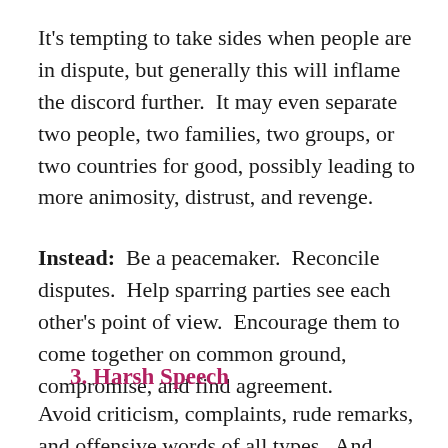It's tempting to take sides when people are in dispute, but generally this will inflame the discord further.  It may even separate two people, two families, two groups, or two countries for good, possibly leading to more animosity, distrust, and revenge.
Instead:  Be a peacemaker.  Reconcile disputes.  Help sparring parties see each other's point of view.  Encourage them to come together on common ground, compromise, and find agreement.
3. Harsh Speech
Avoid criticism, complaints, rude remarks, and offensive words of all types.  And don't bind on about